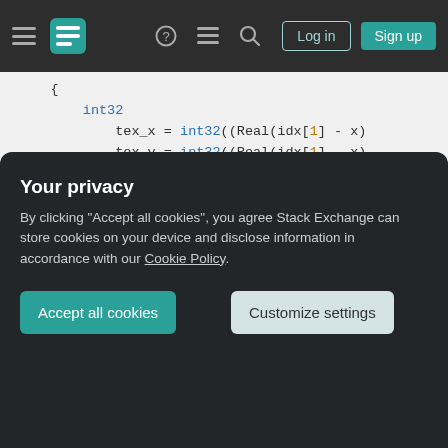Stack Exchange navigation bar with hamburger menu, logo, help, chat, search icons, Log in and Sign up buttons
[Figure (screenshot): Code snippet showing C++ code with int32, tex_x, tex_y variable assignments using Real(idx[1]), ValidTexCoord if-else block, buffer assignment, in a light gray code editor panel]
Your privacy
By clicking "Accept all cookies", you agree Stack Exchange can store cookies on your device and disclose information in accordance with our Cookie Policy.
Accept all cookies
Customize settings